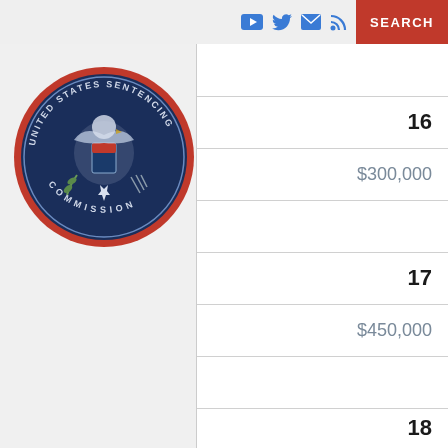[Figure (logo): United States Sentencing Commission seal/logo]
|  |  |
| 16 |  |
|  | $300,000 |
|  |  |
| 17 |  |
|  | $450,000 |
|  |  |
| 18 |  |